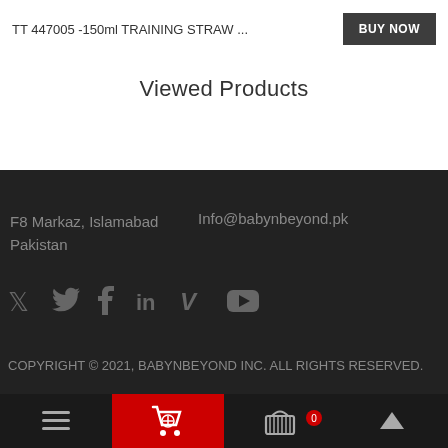TT 447005 -150ml TRAINING STRAW ...
Viewed Products
F8 Markaz, Islamabad
Pakistan
Info@babynbeyond.pk
[Figure (other): Social media icons: Twitter, Facebook, LinkedIn, Vimeo, YouTube]
COPYRIGHT © 2021, BABYNBEYOND INC. ALL RIGHTS RESERVED.
Menu | Cart | Basket (0) | Up